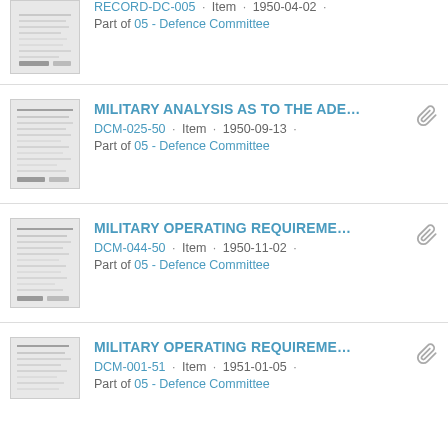RECORD-DC-005 · Item · 1950-04-02 · Part of 05 - Defence Committee
MILITARY ANALYSIS AS TO THE ADE... DCM-025-50 · Item · 1950-09-13 · Part of 05 - Defence Committee
MILITARY OPERATING REQUIREME... DCM-044-50 · Item · 1950-11-02 · Part of 05 - Defence Committee
MILITARY OPERATING REQUIREME... DCM-001-51 · Item · 1951-01-05 · Part of 05 - Defence Committee